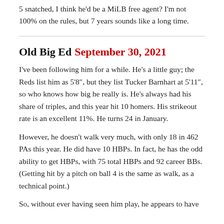5 snatched, I think he'd be a MiLB free agent? I'm not 100% on the rules, but 7 years sounds like a long time.
Old Big Ed September 30, 2021
I've been following him for a while. He's a little guy; the Reds list him as 5'8", but they list Tucker Barnhart at 5'11", so who knows how big he really is. He's always had his share of triples, and this year hit 10 homers. His strikeout rate is an excellent 11%. He turns 24 in January.
However, he doesn't walk very much, with only 18 in 462 PAs this year. He did have 10 HBPs. In fact, he has the odd ability to get HBPs, with 75 total HBPs and 92 career BBs. (Getting hit by a pitch on ball 4 is the same as walk, as a technical point.)
So, without ever having seen him play, he appears to have